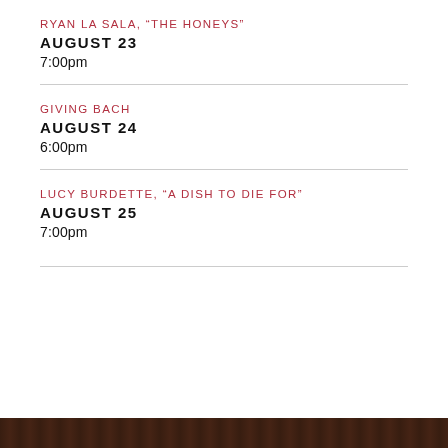RYAN LA SALA, “THE HONEYS”
AUGUST 23
7:00pm
GIVING BACH
AUGUST 24
6:00pm
LUCY BURDETTE, “A DISH TO DIE FOR”
AUGUST 25
7:00pm